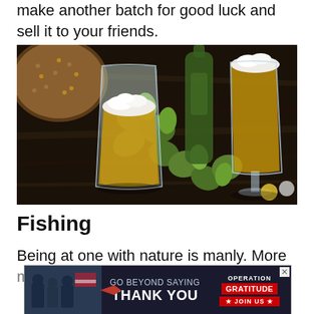make another batch for good luck and sell it to your friends.
[Figure (photo): Two glasses of beer (one pint glass, one stemmed glass) with hops and grain/malt on a dark wooden surface]
Fishing
Being at one with nature is manly. More ... knowledge of ...
[Figure (infographic): Advertisement banner: 'GO BEYOND SAYING THANK YOU' - Operation Gratitude JOIN US ad with military imagery]